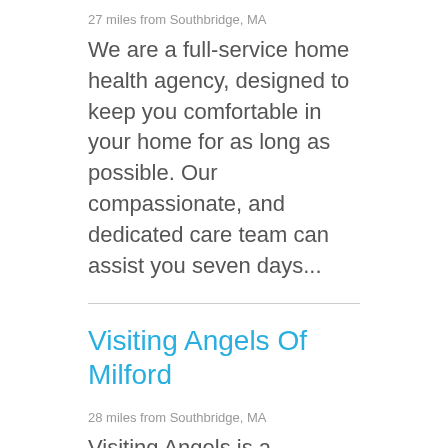27 miles from Southbridge, MA
We are a full-service home health agency, designed to keep you comfortable in your home for as long as possible. Our compassionate, and dedicated care team can assist you seven days...
Visiting Angels Of Milford
28 miles from Southbridge, MA
Visiting Angels is a national, private duty network of home care agencies and is the nation`s leader for providing non-medical senior care. Visiting Angels is the most